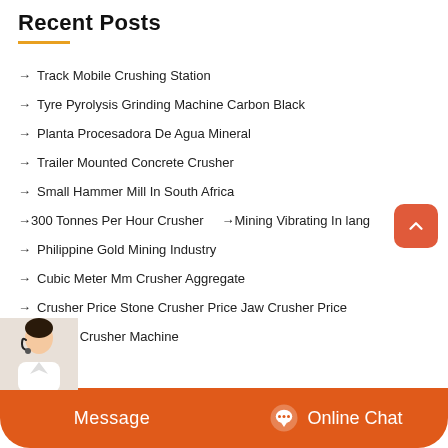Recent Posts
→ Track Mobile Crushing Station
→ Tyre Pyrolysis Grinding Machine Carbon Black
→ Planta Procesadora De Agua Mineral
→ Trailer Mounted Concrete Crusher
→ Small Hammer Mill In South Africa
→ 300 Tonnes Per Hour Crusher   → Mining Vibrating In lang
→ Philippine Gold Mining Industry
→ Cubic Meter Mm Crusher Aggregate
→ Crusher Price Stone Crusher Price Jaw Crusher Price
→ 9 Mine Crusher Machine
Message   Online Chat